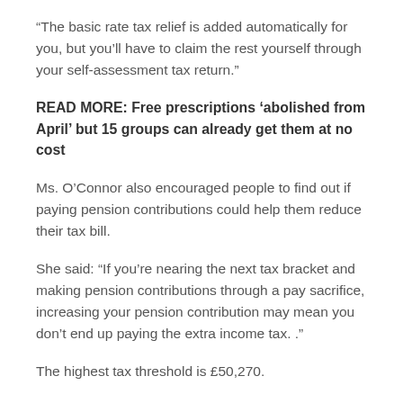“The basic rate tax relief is added automatically for you, but you’ll have to claim the rest yourself through your self-assessment tax return.”
READ MORE: Free prescriptions ‘abolished from April’ but 15 groups can already get them at no cost
Ms. O’Connor also encouraged people to find out if paying pension contributions could help them reduce their tax bill.
She said: “If you’re nearing the next tax bracket and making pension contributions through a pay sacrifice, increasing your pension contribution may mean you don’t end up paying the extra income tax. .”
The highest tax threshold is £50,270.
If someone were to get a pay rise from £50,000 to £53,000 then they would have to pay 40% income tax on the £2,730 above the